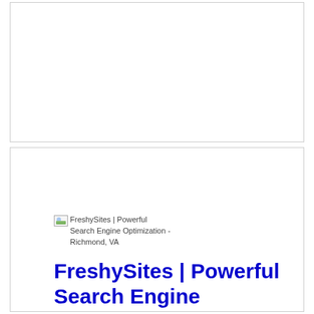[Figure (other): Empty white box with border - top section placeholder]
[Figure (other): Broken image placeholder icon for FreshySites | Powerful Search Engine Optimization - Richmond, VA]
FreshySites | Powerful Search Engine Optimization - Richmond, VA